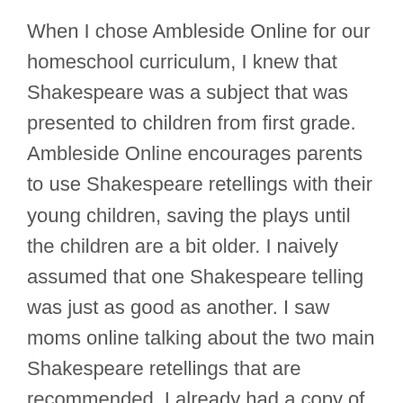When I chose Ambleside Online for our homeschool curriculum, I knew that Shakespeare was a subject that was presented to children from first grade. Ambleside Online encourages parents to use Shakespeare retellings with their young children, saving the plays until the children are a bit older. I naively assumed that one Shakespeare telling was just as good as another. I saw moms online talking about the two main Shakespeare retellings that are recommended. I already had a copy of Charles and Mary Lamb's retellings, and I purchased a copy of Edith Nesbit's retellings as well. I jumped into the first Shakespeare in first grade with my daughter . . . and it flopped. My daughter stared off into space while I was reading and couldn't keep track of the